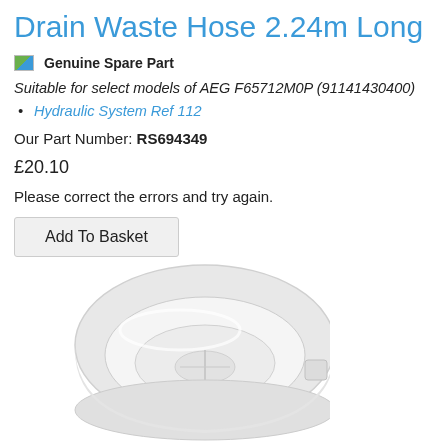Drain Waste Hose 2.24m Long
Genuine Spare Part  Genuine Spare Part
Suitable for select models of AEG F65712M0P (91141430400)
Hydraulic System Ref 112
Our Part Number: RS694349
£20.10
Please correct the errors and try again.
Add To Basket
[Figure (photo): White plastic drain hose cap/end fitting — a round shallow bowl-shaped white plastic component with a small rectangular tab on the side]